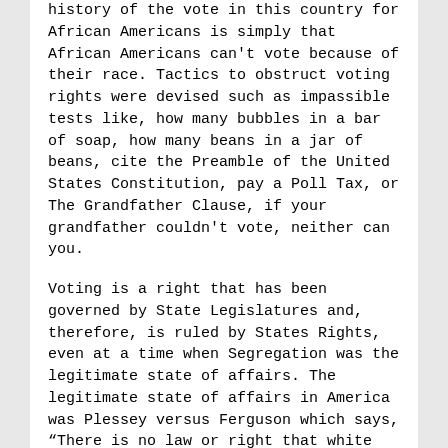history of the vote in this country for African Americans is simply that African Americans can't vote because of their race. Tactics to obstruct voting rights were devised such as impassible tests like, how many bubbles in a bar of soap, how many beans in a jar of beans, cite the Preamble of the United States Constitution, pay a Poll Tax, or The Grandfather Clause, if your grandfather couldn't vote, neither can you.
Voting is a right that has been governed by State Legislatures and, therefore, is ruled by States Rights, even at a time when Segregation was the legitimate state of affairs. The legitimate state of affairs in America was Plessey versus Ferguson which says, “There is no law or right that white folks are required to enforce for Black Americans.”